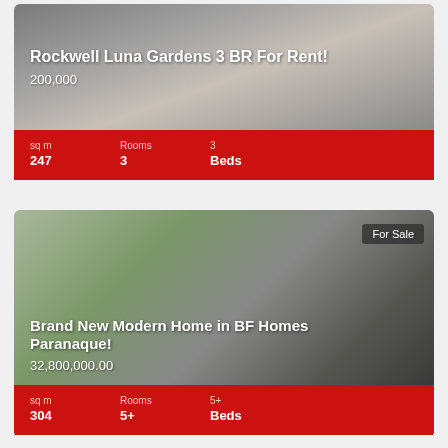[Figure (photo): Interior photo of Rockwell Luna Gardens unit with glass doors and grey flooring]
Rockwell Luna Gardens 3 BR For Rent!
200,000
sq m 247  Rooms 3  3 Beds
[Figure (photo): Exterior photo of Brand New Modern Home in BF Homes Paranaque with trees and modern gate]
Brand New Modern Home in BF Homes Paranaque!
32,800,000.00
sq m 304  Rooms 5+  5+ Beds
For Sale